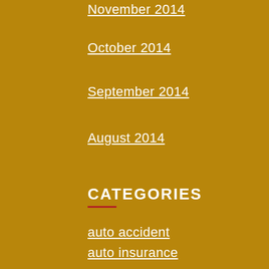November 2014
October 2014
September 2014
August 2014
CATEGORIES
auto accident
auto insurance
case summary
heart & lung
injured on the job
Injury info
personal injury
public employees